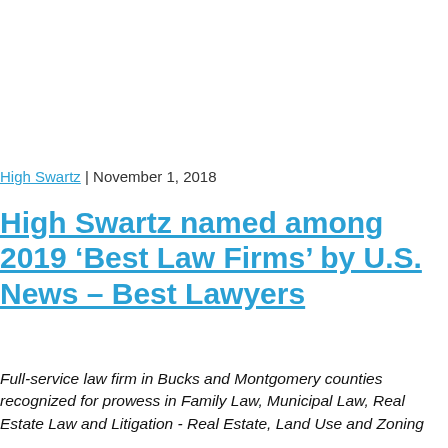High Swartz | November 1, 2018
High Swartz named among 2019 ‘Best Law Firms’ by U.S. News – Best Lawyers
Full-service law firm in Bucks and Montgomery counties recognized for prowess in Family Law, Municipal Law, Real Estate Law and Litigation - Real Estate, Land Use and Zoning